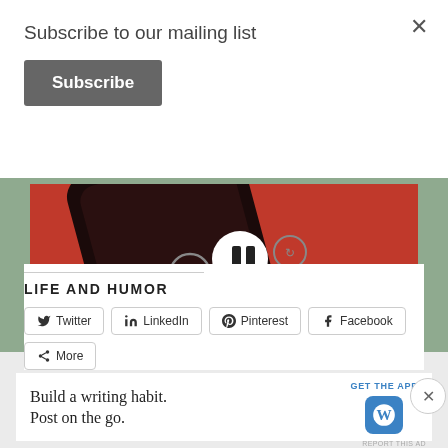Subscribe to our mailing list
Subscribe
[Figure (screenshot): Pocket Casts advertisement showing a red phone with media player controls and the Pocket Casts logo on a red background]
REPORT THIS AD
LIFE AND HUMOR
Twitter
LinkedIn
Pinterest
Facebook
More
Advertisements
[Figure (screenshot): WordPress app advertisement: 'Build a writing habit. Post on the go.' with GET THE APP call-to-action and WordPress logo]
REPORT THIS AD